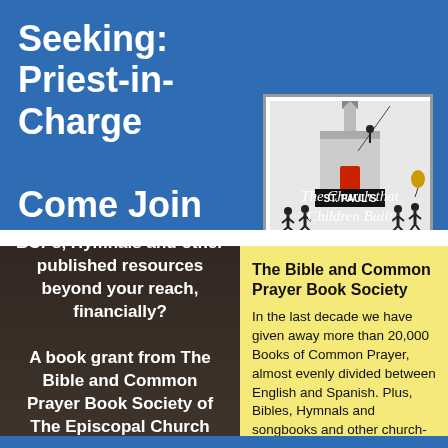Seeking:
Priest-in-Charge
Come Join Us!
St. Paul's Episcopal Church, Harris Hill
Williamsville, New York
[Figure (logo): St. Paul's Episcopal Church logo showing a church building with steeple and silhouettes of children playing around it, with text 'ST. PAUL'S' in a black banner]
The Church that Children Built
BCPs, Hymnals and other published resources beyond your reach, financially? A book grant from The Bible and Common Prayer Book Society of The Episcopal Church may help.
The Bible and Common Prayer Book Society
In the last decade we have given away more than 20,000 Books of Common Prayer, almost evenly divided between English and Spanish. Plus, Bibles, Hymnals and songbooks and other church-